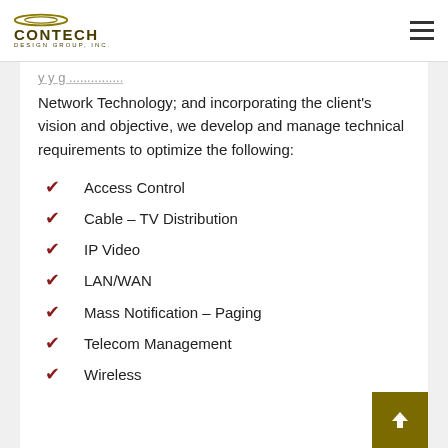Contech Design Group, Inc.
Network Technology; and incorporating the client's vision and objective, we develop and manage technical requirements to optimize the following:
Access Control
Cable – TV Distribution
IP Video
LAN/WAN
Mass Notification – Paging
Telecom Management
Wireless